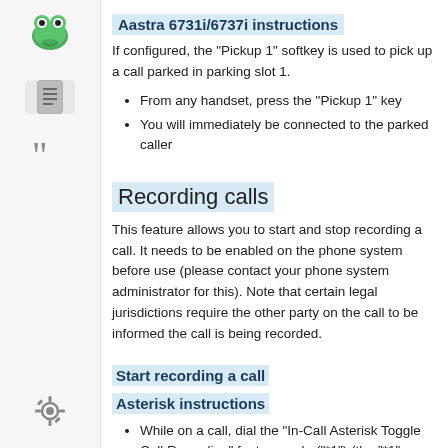[Figure (logo): Green frog logo icon in sidebar]
[Figure (illustration): Document/notes icon in sidebar]
[Figure (illustration): Double quotation mark icon in sidebar]
Aastra 6731i/6737i instructions
If configured, the "Pickup 1" softkey is used to pick up a call parked in parking slot 1.
From any handset, press the "Pickup 1" key
You will immediately be connected to the parked caller
Recording calls
This feature allows you to start and stop recording a call. It needs to be enabled on the phone system before use (please contact your phone system administrator for this). Note that certain legal jurisdictions require the other party on the call to be informed the call is being recorded.
Start recording a call
Asterisk instructions
While on a call, dial the "In-Call Asterisk Toggle Call Recording" feature code ("*1") (the "*1" needs to be
[Figure (illustration): Settings gear icon in sidebar]
[Figure (illustration): Double chevron/arrows icon in sidebar]